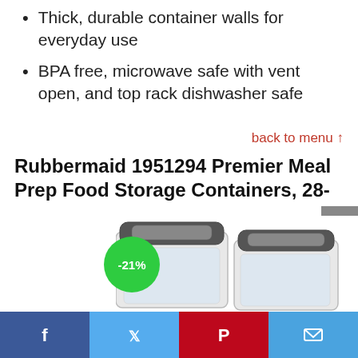Thick, durable container walls for everyday use
BPA free, microwave safe with vent open, and top rack dishwasher safe
back to menu ↑
Rubbermaid 1951294 Premier Meal Prep Food Storage Containers, 28-Piece, Gray
[Figure (photo): Product photo of Rubbermaid food storage containers with gray lids, showing two containers. A green circular badge shows -21% discount.]
Facebook | Twitter | Pinterest | Email social share bar